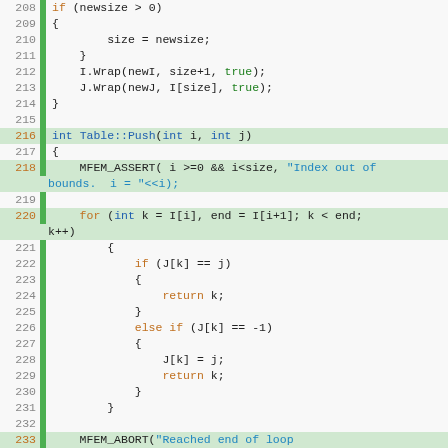[Figure (screenshot): Source code viewer showing C++ code lines 208-239 with syntax highlighting. Line numbers on left, green gutter bar, code with blue/orange/green syntax coloring on light gray background.]